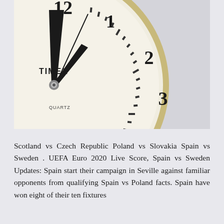[Figure (photo): Close-up photograph of a Timex Quartz analog clock face showing numbers 1-6 visible, with clock hands pointing near 1 o'clock, cream/white clock face with gold bezel, on a light grey background.]
Scotland vs Czech Republic Poland vs Slovakia Spain vs Sweden . UEFA Euro 2020 Live Score, Spain vs Sweden Updates: Spain start their campaign in Seville against familiar opponents from qualifying Spain vs Poland facts. Spain have won eight of their ten fixtures